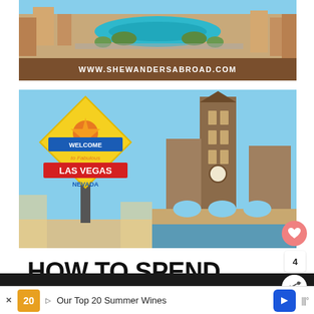[Figure (photo): Aerial view of Las Vegas Strip with water features and city buildings, with brown banner overlay showing website URL www.shewandersabroad.com]
[Figure (photo): Two side-by-side photos: left shows the 'Welcome to Fabulous Las Vegas Nevada' sign against blue sky; right shows the Venetian hotel tower in Las Vegas]
HOW TO SPEND
[Figure (screenshot): Bottom advertisement bar showing food/wine ad with text 'Our Top 20 Summer Wines' and navigation icons]